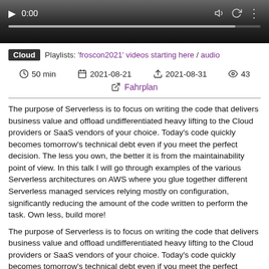[Figure (screenshot): Video player with play button, time display 0:00, progress bar, volume, refresh, and menu icons on dark background]
Cloud   Playlists: 'froscon2021' videos starting here / audio
50 min   2021-08-21   2021-08-31   43
Fahrplan
The purpose of Serverless is to focus on writing the code that delivers business value and offload undifferentiated heavy lifting to the Cloud providers or SaaS vendors of your choice. Today's code quickly becomes tomorrow's technical debt even if you meet the perfect decision. The less you own, the better it is from the maintainability point of view. In this talk I will go through examples of the various Serverless architectures on AWS where you glue together different Serverless managed services relying mostly on configuration, significantly reducing the amount of the code written to perform the task. Own less, build more!
The purpose of Serverless is to focus on writing the code that delivers business value and offload undifferentiated heavy lifting to the Cloud providers or SaaS vendors of your choice. Today's code quickly becomes tomorrow's technical debt even if you meet the perfect decision. The less you own, the better it is from the maintainability point of view. In this talk I